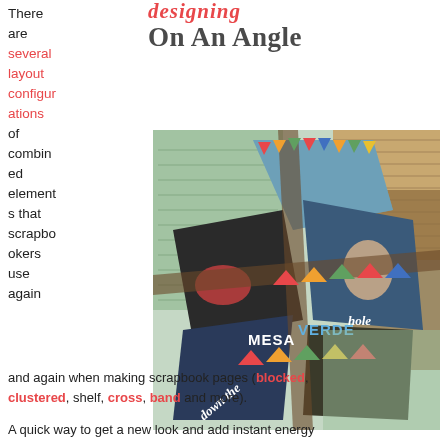designing On An Angle
There are several layout configurations of combined elements that scrapbookers use again and again when making scrapbook pages (blocked, clustered, shelf, cross, band and more).
[Figure (photo): Scrapbook layout photo showing diagonal angular arrangement of photos with colorful triangle bunting decorations and handwritten journaling text. Text overlay reads 'down the MESAVERDE hole']
A quick way to get a new look and add instant energy